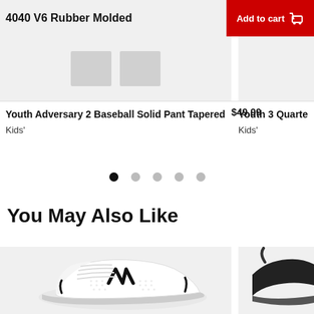4040 V6 Rubber Molded
Add to cart
[Figure (photo): Two gray sneaker thumbnail images on light gray background]
[Figure (photo): Partially visible product image on right side]
Youth Adversary 2 Baseball Solid Pant Tapered
Kids'
$49.99
Youth 3 Quarte
Kids'
● ○ ○ ○ ○
You May Also Like
[Figure (photo): White New Balance athletic shoe with black logo on light gray background]
[Figure (photo): Partially visible dark shoe on light gray background]